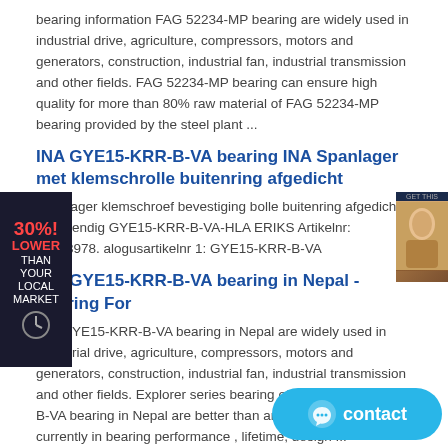bearing information FAG 52234-MP bearing are widely used in industrial drive, agriculture, compressors, motors and generators, construction, industrial fan, industrial transmission and other fields. FAG 52234-MP bearing can ensure high quality for more than 80% raw material of FAG 52234-MP bearing provided by the steel plant ...
INA GYE15-KRR-B-VA bearing INA Spanlager met klemschroef bolle buitenring afgedicht
Spanlager klemschroef bevestiging bolle buitenring afgedicht stbestendig GYE15-KRR-B-VA-HLA ERIKS Artikelnr: 11833978. alogusartikelnr 1: GYE15-KRR-B-VA
INA GYE15-KRR-B-VA bearing in Nepal - Bearing For
INA GYE15-KRR-B-VA bearing in Nepal are widely used in industrial drive, agriculture, compressors, motors and generators, construction, industrial fan, industrial transmission and other fields. Explorer series bearing of INA GYE15-KRR-B-VA bearing in Nepal are better than any brand bearings currently in bearing performance , lifetime, design ...
ina zkln1747.2z bearing | Lowest Price on
ina zkln1747.2z bearing are widely used in industrial drive, compressors, motors and generators, construction, industrial transmission and other fields. ina zkln1747.2z bearing can ensure high quality